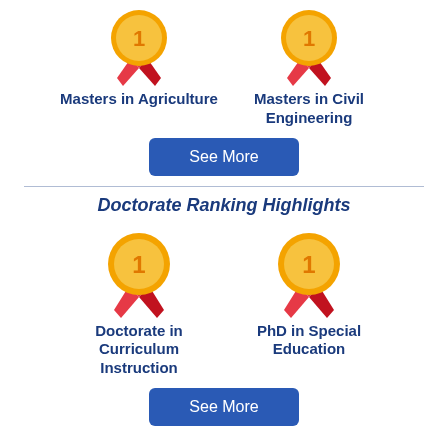[Figure (illustration): Gold medal with number 1 and red ribbon — Masters in Agriculture]
Masters in Agriculture
[Figure (illustration): Gold medal with number 1 and red ribbon — Masters in Civil Engineering]
Masters in Civil Engineering
[Figure (illustration): See More button]
Doctorate Ranking Highlights
[Figure (illustration): Gold medal with number 1 and red ribbon — Doctorate in Curriculum Instruction]
Doctorate in Curriculum Instruction
[Figure (illustration): Gold medal with number 1 and red ribbon — PhD in Special Education]
PhD in Special Education
[Figure (illustration): See More button]
Established in 1923, Texas Tech University is a public research university with over 38,000 students enrolled.